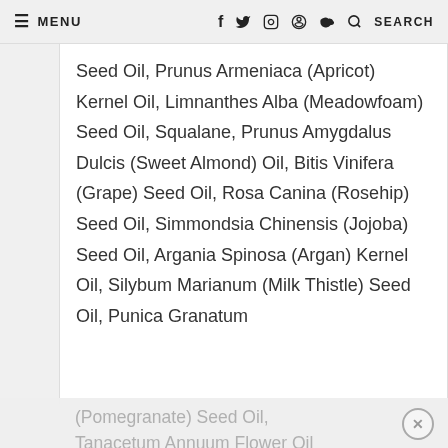≡ MENU   f  Twitter  Instagram  Pinterest  🔍 SEARCH
Seed Oil, Prunus Armeniaca (Apricot) Kernel Oil, Limnanthes Alba (Meadowfoam) Seed Oil, Squalane, Prunus Amygdalus Dulcis (Sweet Almond) Oil, Bitis Vinifera (Grape) Seed Oil, Rosa Canina (Rosehip) Seed Oil, Simmondsia Chinensis (Jojoba) Seed Oil, Argania Spinosa (Argan) Kernel Oil, Silybum Marianum (Milk Thistle) Seed Oil, Punica Granatum (Pomegranate) Seed Oil, Tanacetum Annuum Flower Oil